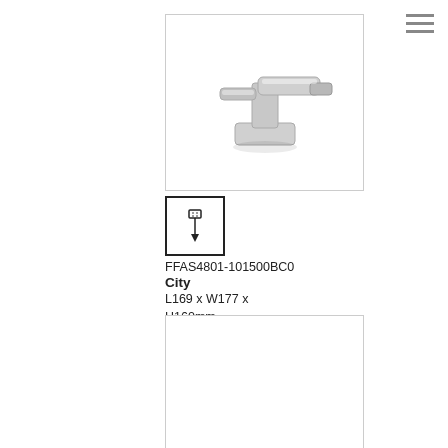[Figure (photo): Chrome deck mounted pull-out basin mixer tap (City model) shown at angle, with watermark text 'ACE SANITARY WARE']
[Figure (schematic): Small icon showing pull-out spray head installation diagram inside bordered square]
FFAS4801-101500BC0
City
L169 x W177 x H160mm
American Standard (PRC) "City" Deck mounted pull-out basin mixer
[Figure (photo): Empty white bordered box (second product image area, blank)]